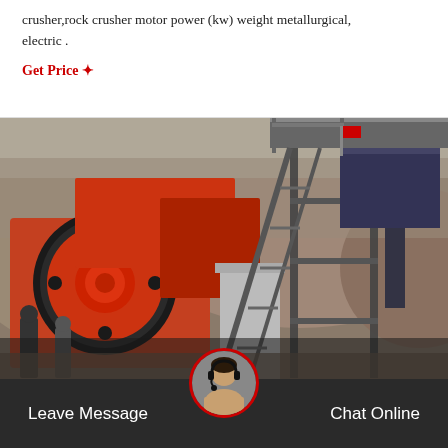crusher,rock crusher motor power (kw) weight metallurgical, electric .
Get Price ✦
[Figure (photo): Large red and black jaw crusher machine installed outdoors on a rocky hillside. Workers visible near the base. Metal stairs and structural framework visible on the right side. Red flag visible at top of structure.]
Leave Message
Chat Online